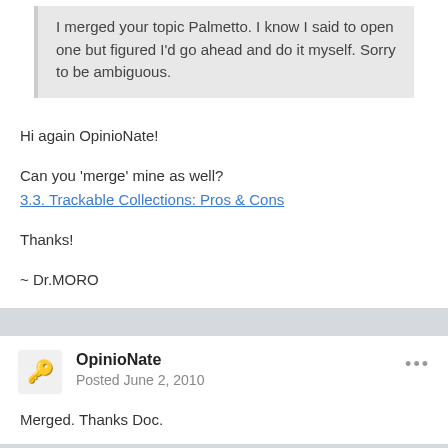I merged your topic Palmetto. I know I said to open one but figured I'd go ahead and do it myself. Sorry to be ambiguous.
Hi again OpinioNate!

Can you 'merge' mine as well?
3.3. Trackable Collections: Pros & Cons

Thanks!

~ Dr.MORO
OpinioNate
Posted June 2, 2010
Merged. Thanks Doc.
WRASTRO